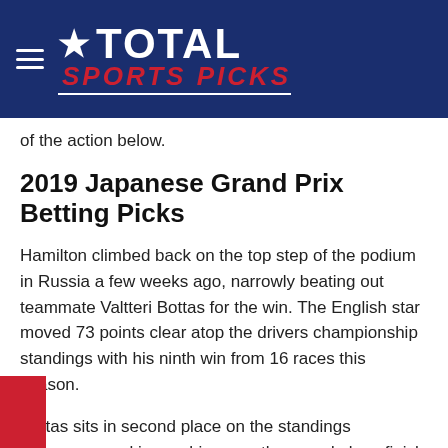Total Sports Picks
of the action below.
2019 Japanese Grand Prix Betting Picks
Hamilton climbed back on the top step of the podium in Russia a few weeks ago, narrowly beating out teammate Valtteri Bottas for the win. The English star moved 73 points clear atop the drivers championship standings with his ninth win from 16 races this season.
Bottas sits in second place on the standings after king up his seventh second place finish of the ason and continuing the dominance of the